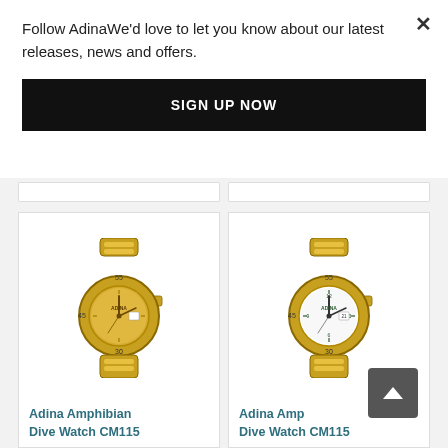Follow AdinaWe'd love to let you know about our latest releases, news and offers.
SIGN UP NOW
[Figure (photo): Gold Adina Amphibian dive watch with champagne/gold dial on gold bracelet]
[Figure (photo): Gold Adina Amphibian dive watch with white dial on gold bracelet]
Adina Amphibian Dive Watch CM115
Adina Amphibian Dive Watch CM115